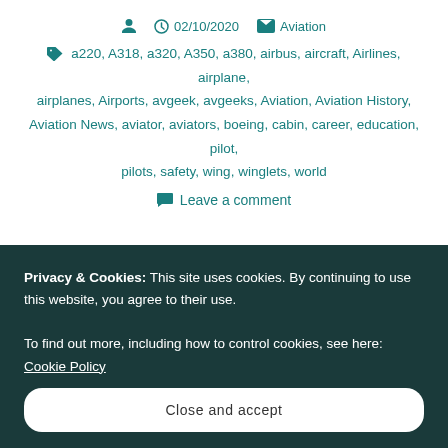02/10/2020  Aviation
a220, A318, a320, A350, a380, airbus, aircraft, Airlines, airplane, airplanes, Airports, avgeek, avgeeks, Aviation, Aviation History, Aviation News, aviator, aviators, boeing, cabin, career, education, pilot, pilots, safety, wing, winglets, world
Leave a comment
Privacy & Cookies: This site uses cookies. By continuing to use this website, you agree to their use. To find out more, including how to control cookies, see here: Cookie Policy
Close and accept